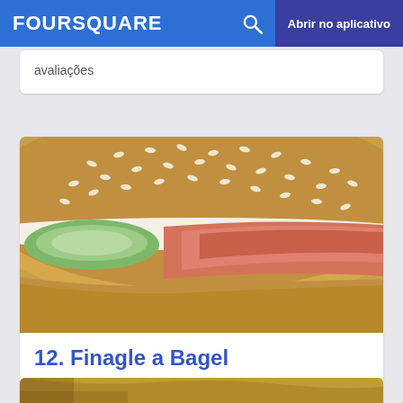FOURSQUARE  Abrir no aplicativo
avaliações
[Figure (photo): Close-up photo of a sesame bagel sandwich with cream cheese, smoked salmon, and cucumber slices.]
12. Finagle a Bagel
1240 Boylston St (Holly Ln), Chestnut Hill, MA
Casa de Bagel · 9 dicas e avaliações
[Figure (photo): Partial photo at bottom of page showing a baked pastry item in brown paper wrapper.]